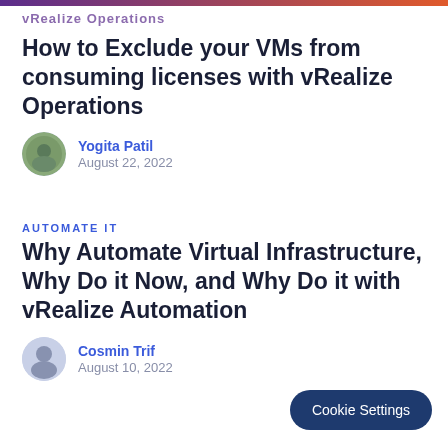vRealize Operations
How to Exclude your VMs from consuming licenses with vRealize Operations
Yogita Patil
August 22, 2022
Automate IT
Why Automate Virtual Infrastructure, Why Do it Now, and Why Do it with vRealize Automation
Cosmin Trif
August 10, 2022
Cookie Settings